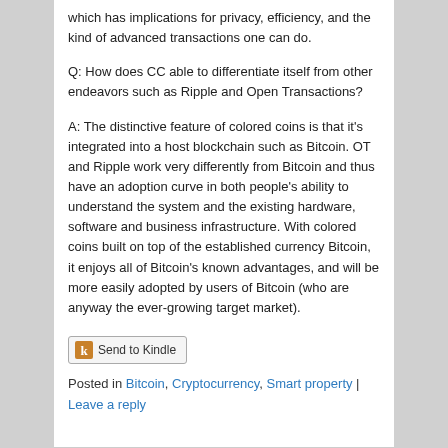which has implications for privacy, efficiency, and the kind of advanced transactions one can do.
Q: How does CC able to differentiate itself from other endeavors such as Ripple and Open Transactions?
A: The distinctive feature of colored coins is that it's integrated into a host blockchain such as Bitcoin. OT and Ripple work very differently from Bitcoin and thus have an adoption curve in both people's ability to understand the system and the existing hardware, software and business infrastructure. With colored coins built on top of the established currency Bitcoin, it enjoys all of Bitcoin's known advantages, and will be more easily adopted by users of Bitcoin (who are anyway the ever-growing target market).
[Figure (other): Send to Kindle button with Kindle icon]
Posted in Bitcoin, Cryptocurrency, Smart property | Leave a reply